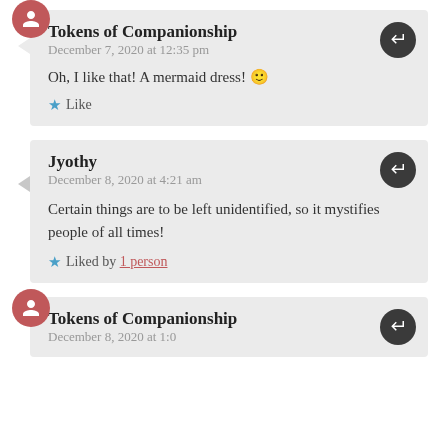Tokens of Companionship
December 7, 2020 at 12:35 pm
Oh, I like that! A mermaid dress! 🙂
Like
Jyothy
December 8, 2020 at 4:21 am
Certain things are to be left unidentified, so it mystifies people of all times!
Liked by 1 person
Tokens of Companionship